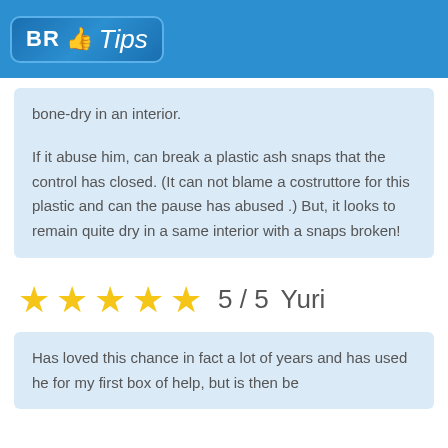BR Tips
bone-dry in an interior.

If it abuse him, can break a plastic ash snaps that the control has closed. (It can not blame a costruttore for this plastic and can the pause has abused .) But, it looks to remain quite dry in a same interior with a snaps broken!
5 / 5   Yuri
Has loved this chance in fact a lot of years and has used he for my first box of help, but is then be